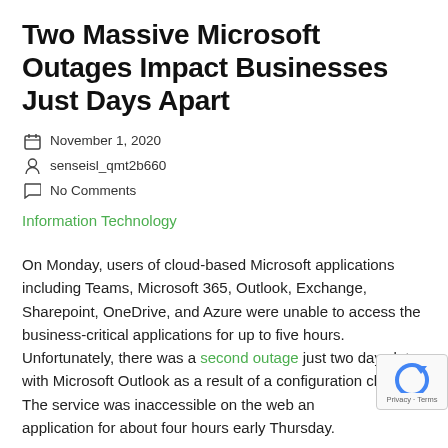Two Massive Microsoft Outages Impact Businesses Just Days Apart
📅 November 1, 2020
👤 senseisl_qmt2b660
💬 No Comments
Information Technology
On Monday, users of cloud-based Microsoft applications including Teams, Microsoft 365, Outlook, Exchange, Sharepoint, OneDrive, and Azure were unable to access the business-critical applications for up to five hours. Unfortunately, there was a second outage just two days later with Microsoft Outlook as a result of a configuration change. The service was inaccessible on the web and the application for about four hours early Thursday.
A Microsoft spokesperson stated there was no reason to